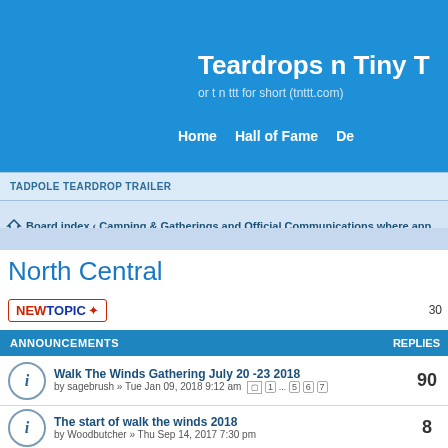Teardrops n Tiny T
or t n ttt for short (tnttt.com)
Home   Hall of Fame   De
TADPOLE TEARDROP TRAILER
Board index < Camping & Gatherings and Official Communications where app
North Central
NEWTOPIC*   30
| ANNOUNCEMENTS | REPLIES |
| --- | --- |
| Walk The Winds Gathering July 20 -23 2018
by sagebrush » Tue Jan 09, 2018 9:12 am  [pages] 1 ... 5 6 7 | 90 |
| The start of walk the winds 2018
by Woodbutcher » Thu Sep 14, 2017 7:30 pm | 8 |